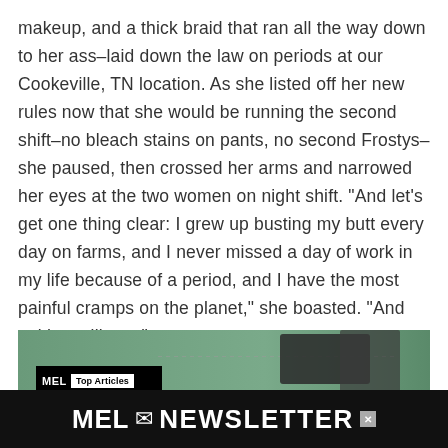makeup, and a thick braid that ran all the way down to her ass–laid down the law on periods at our Cookeville, TN location. As she listed off her new rules now that she would be running the second shift–no bleach stains on pants, no second Frostys–she paused, then crossed her arms and narrowed her eyes at the two women on night shift. “And let’s get one thing clear: I grew up busting my butt every day on farms, and I never missed a day of work in my life because of a period, and I have the most painful cramps on the planet,” she boasted. “And neither will you.”
[Figure (screenshot): Screenshot of a MEL magazine webpage showing a video/article thumbnail with a dark car and a figure, overlaid with a 'MEL | Top Articles' bar. Below is a MEL Newsletter banner advertisement in black with white text.]